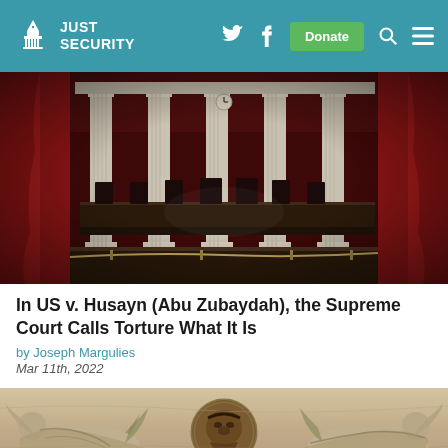Just Security
[Figure (photo): Interior of the United States Supreme Court chamber with marble columns, red curtains, and judicial bench]
In US v. Husayn (Abu Zubaydah), the Supreme Court Calls Torture What It Is
by Joseph Margulies
Mar 11th, 2022
[Figure (photo): Marble sculptural frieze detail from the Supreme Court building showing reclining classical figures flanking a central medallion face]